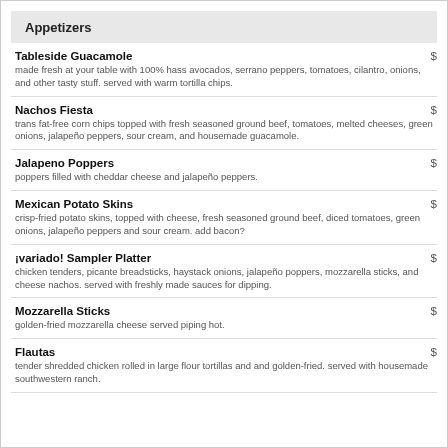Appetizers
Tableside Guacamole | $ | made fresh at your table with 100% hass avocados, serrano peppers, tomatoes, cilantro, onions, and other tasty stuff. served with warm tortilla chips.
Nachos Fiesta | $ | trans fat-free corn chips topped with fresh seasoned ground beef, tomatoes, melted cheeses, green onions, jalapeño peppers, sour cream, and housemade guacamole.
Jalapeno Poppers | $ | poppers filled with cheddar cheese and jalapeño peppers.
Mexican Potato Skins | $ | crisp-fried potato skins, topped with cheese, fresh seasoned ground beef, diced tomatoes, green onions, jalapeño peppers and sour cream. add bacon?
¡variado! Sampler Platter | $ | chicken tenders, picante breadsticks, haystack onions, jalapeño poppers, mozzarella sticks, and cheese nachos. served with freshly made sauces for dipping.
Mozzarella Sticks | $ | golden-fried mozzarella cheese served piping hot.
Flautas | $ | tender shredded chicken rolled in large flour tortillas and and golden-fried. served with housemade southwestern ranch.